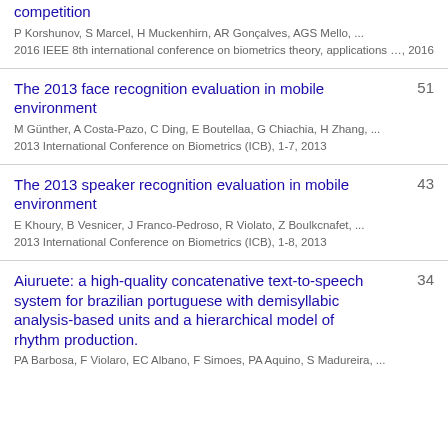competition
P Korshunov, S Marcel, H Muckenhirn, AR Gonçalves, AGS Mello, ...
2016 IEEE 8th international conference on biometrics theory, applications …, 2016
The 2013 face recognition evaluation in mobile environment [51]
M Günther, A Costa-Pazo, C Ding, E Boutellaa, G Chiachia, H Zhang, ...
2013 International Conference on Biometrics (ICB), 1-7, 2013
The 2013 speaker recognition evaluation in mobile environment [43]
E Khoury, B Vesnicer, J Franco-Pedroso, R Violato, Z Boulkcnafet, ...
2013 International Conference on Biometrics (ICB), 1-8, 2013
Aiuruete: a high-quality concatenative text-to-speech system for brazilian portuguese with demisyllabic analysis-based units and a hierarchical model of rhythm production. [34]
PA Barbosa, F Violaro, EC Albano, F Simoes, PA Aquino, S Madureira, ...